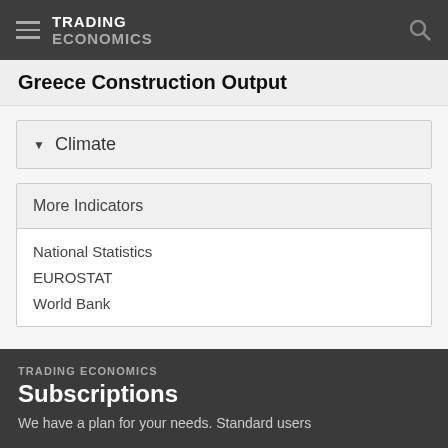TRADING ECONOMICS
Greece Construction Output
Climate
More Indicators
National Statistics
EUROSTAT
World Bank
TRADING ECONOMICS Subscriptions We have a plan for your needs. Standard users